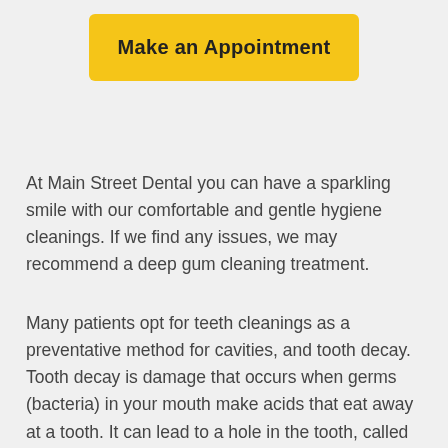[Figure (other): Yellow button labeled 'Make an Appointment']
At Main Street Dental you can have a sparkling smile with our comfortable and gentle hygiene cleanings. If we find any issues, we may recommend a deep gum cleaning treatment.
Many patients opt for teeth cleanings as a preventative method for cavities, and tooth decay.  Tooth decay is damage that occurs when germs (bacteria) in your mouth make acids that eat away at a tooth. It can lead to a hole in the tooth, called a cavity. If not